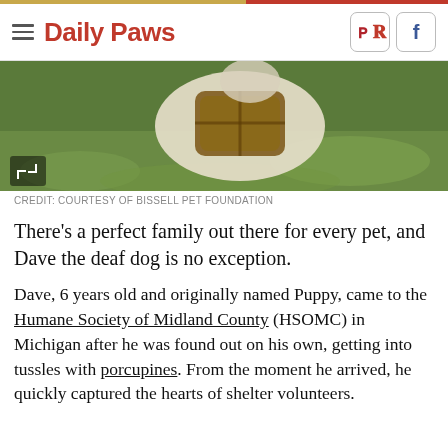Daily Paws
[Figure (photo): Close-up photo of a dog wearing a brown leather harness, photographed outdoors on green grass]
CREDIT: COURTESY OF BISSELL PET FOUNDATION
There's a perfect family out there for every pet, and Dave the deaf dog is no exception.
Dave, 6 years old and originally named Puppy, came to the Humane Society of Midland County (HSOMC) in Michigan after he was found out on his own, getting into tussles with porcupines. From the moment he arrived, he quickly captured the hearts of shelter volunteers.